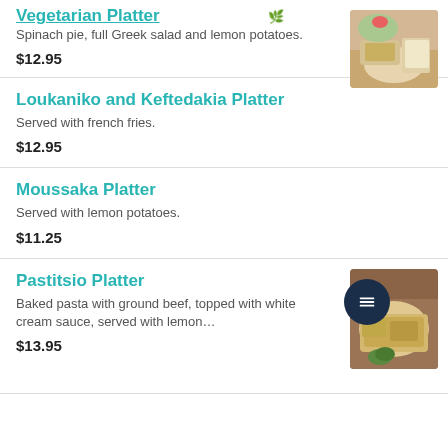Vegetarian Platter
Spinach pie, full Greek salad and lemon potatoes.
$12.95
[Figure (photo): Photo of vegetarian platter with spinach pie and salad]
Loukaniko and Keftedakia Platter
Served with french fries.
$12.95
Moussaka Platter
Served with lemon potatoes.
$11.25
Pastitsio Platter
Baked pasta with ground beef, topped with white cream sauce, served with lemon…
$13.95
[Figure (photo): Photo of Pastitsio platter with baked pasta]